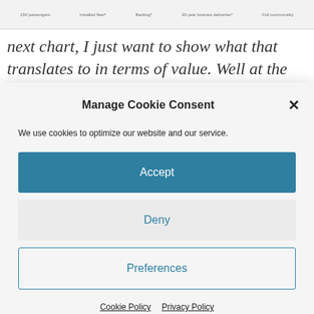[Figure (screenshot): Thumbnail of a chart or table partially visible at top of page behind cookie consent modal]
next chart, I just want to show what that translates to in terms of value. Well at the top end of the market, it's just pure savings in terms of emissions somewhere between a million and a half and over three million
Manage Cookie Consent
We use cookies to optimize our website and our service.
Accept
Deny
Preferences
Cookie Policy   Privacy Policy